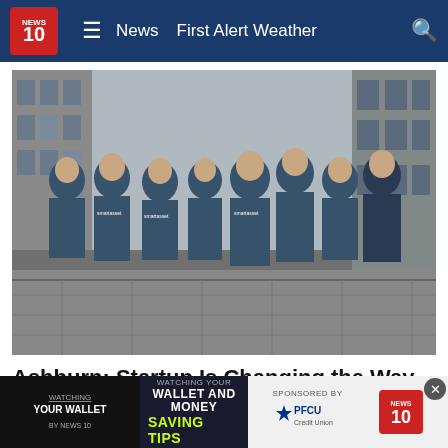NEWS 10 | News | First Alert Weather
[Figure (photo): Group of approximately 12 people wearing SmartAsset branded blue t-shirts standing on a cobblestone street in an urban setting]
Ashburn: Startup Is Changing the Way People Retire
SmartAsset | Sponsored
[Figure (infographic): Advertisement banner: Watching Your Wallet and Money Saving Tips, Sponsored by PFCU Credit Union and NEWS 10]